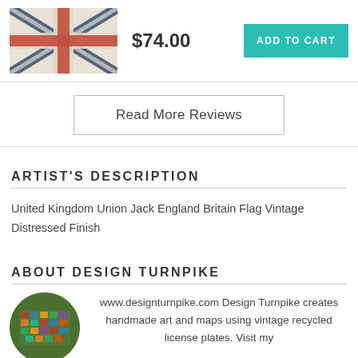[Figure (photo): Union Jack / British flag with vintage distressed finish, red and blue on cream/white background]
$74.00
ADD TO CART
Read More Reviews
ARTIST'S DESCRIPTION
United Kingdom Union Jack England Britain Flag Vintage Distressed Finish
ABOUT DESIGN TURNPIKE
[Figure (photo): Circular profile photo showing a map of the United States made from vintage license plates, on a green background]
www.designturnpike.com Design Turnpike creates handmade art and maps using vintage recycled license plates. Visit my